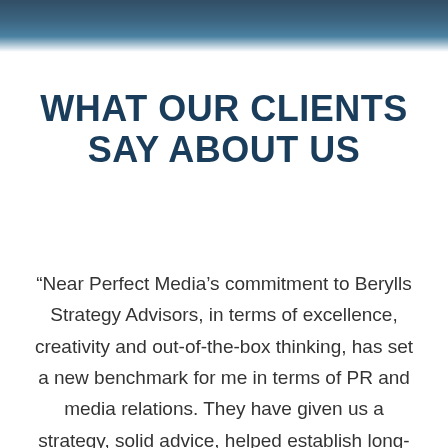[Figure (photo): Dark navy blue gradient header image at top of page, appears to be a photo with dark tones fading to white]
WHAT OUR CLIENTS SAY ABOUT US
“Near Perfect Media’s commitment to Berylls Strategy Advisors, in terms of excellence, creativity and out-of-the-box thinking, has set a new benchmark for me in terms of PR and media relations. They have given us a strategy, solid advice, helped establish long-term media